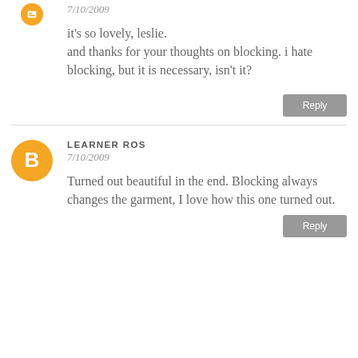[Figure (illustration): Orange circular Blogger avatar icon, partially visible at top]
7/10/2009
it's so lovely, leslie.
and thanks for your thoughts on blocking. i hate blocking, but it is necessary, isn't it?
Reply
[Figure (illustration): Orange circular Blogger avatar icon with white B logo]
LEARNER ROS
7/10/2009
Turned out beautiful in the end. Blocking always changes the garment, I love how this one turned out.
Reply